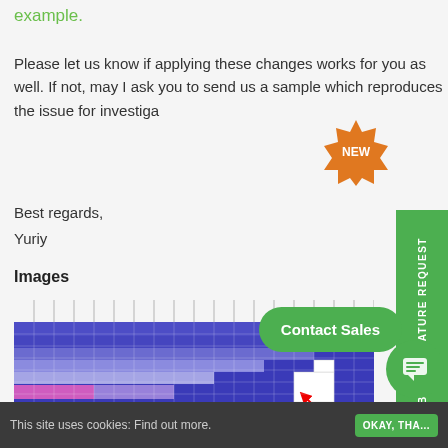example.
Please let us know if applying these changes works for you as well. If not, may I ask you to send us a sample which reproduces the issue for investigation.
Best regards,
Yuriy
Images
[Figure (other): Heatmap grid visualization with blue-to-pink gradient cells and a red arrow pointing to a cluster of white cells in the lower right area.]
This site uses cookies: Find out more.   OKAY, THA...